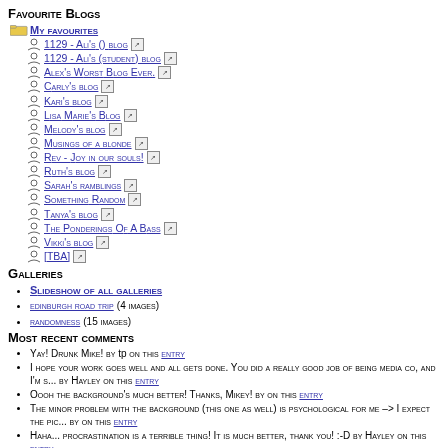Favourite Blogs
My Favourites (folder link)
1129 - Ali's () blog
1129 - Ali's (student) blog
Alex's Worst Blog Ever.
Carly's blog
Kari's blog
Lisa Marie's Blog
Melody's blog
Musings of a blonde
Rev - Joy in our souls!
Ruth's blog
Sarah's ramblings
Something Random
Tanya's blog
The Ponderings Of A Bass
Vikki's blog
[TBA]
Galleries
Slideshow of all galleries
edinburgh road trip (4 images)
randomness (15 images)
Most Recent Comments
Yay! Drunk Mike! by tp on this entry
I hope your work goes well and all gets done. You did a really good job of being media co, and I'm s... by Hayley on this entry
Oooh the background's much better! Thanks, Mikey! by on this entry
The minor problem with the background (this one as well) is psychological for me -> I expect the pic... by on this entry
Haha... procrastination is a terrible thing! It is much better, thank you! :-D by Hayley on this entry
Blog Archive
Loading